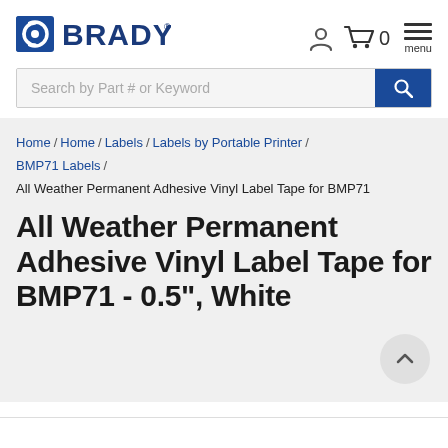[Figure (logo): Brady Corporation logo with blue circle and C symbol and BRADY wordmark in dark blue]
Navigation icons: user account, shopping cart with 0 items, menu
Search by Part # or Keyword
Home / Home / Labels / Labels by Portable Printer / BMP71 Labels / All Weather Permanent Adhesive Vinyl Label Tape for BMP71
All Weather Permanent Adhesive Vinyl Label Tape for BMP71 - 0.5", White